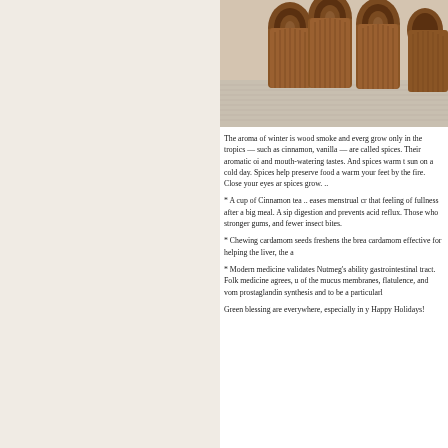[Figure (photo): Close-up photograph of cinnamon sticks on a light background]
The aroma of winter is wood smoke and everg grow only in the tropics — such as cinnamon, vanilla — are called spices. Their aromatic oi and mouth-watering tastes. And spices warm t sun on a cold day. Spices help preserve food a warm your feet by the fire. Close your eyes ar spices grow. ..
* A cup of Cinnamon tea .. eases menstrual cr that feeling of fullness after a big meal. A sip digestion and prevents acid reflux. Those who stronger gums, and fewer insect bites.
* Chewing cardamom seeds freshens the brea cardamom effective for helping the liver, the a
* Modern medicine validates Nutmeg's ability gastrointestinal tract. Folk medicine agrees, u of the mucus membranes, flatulence, and vom prostaglandin synthesis and to be a particularl
Green blessing are everywhere, especially in y Happy Holidays!